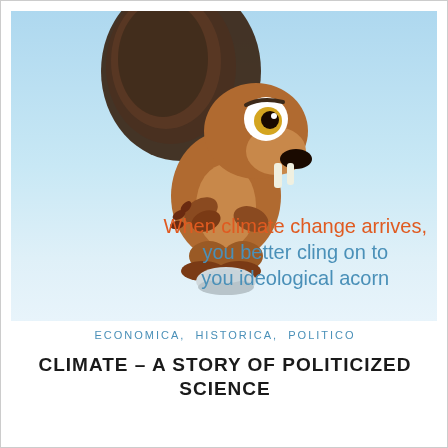[Figure (illustration): Animated squirrel (Scrat from Ice Age) standing on an acorn/ice chunk against a light blue sky background, with overlaid text: 'When climate change arrives, you better cling on to you ideological acorn']
ECONOMICA,  HISTORICA,  POLITICO
CLIMATE – A STORY OF POLITICIZED SCIENCE